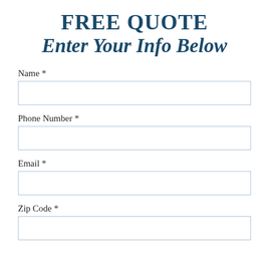FREE QUOTE
Enter Your Info Below
Name *
Phone Number *
Email *
Zip Code *